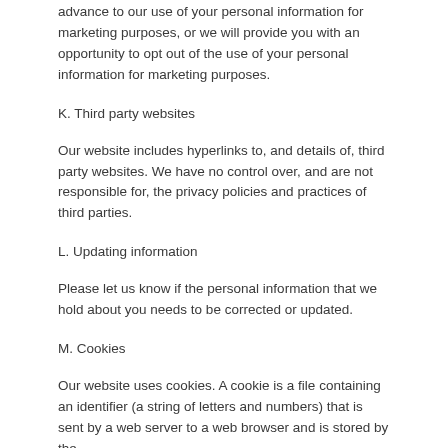advance to our use of your personal information for marketing purposes, or we will provide you with an opportunity to opt out of the use of your personal information for marketing purposes.
K. Third party websites
Our website includes hyperlinks to, and details of, third party websites. We have no control over, and are not responsible for, the privacy policies and practices of third parties.
L. Updating information
Please let us know if the personal information that we hold about you needs to be corrected or updated.
M. Cookies
Our website uses cookies. A cookie is a file containing an identifier (a string of letters and numbers) that is sent by a web server to a web browser and is stored by the